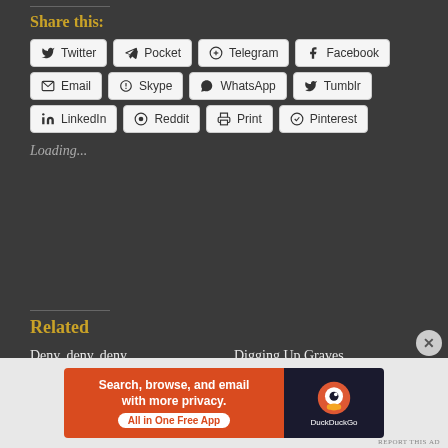REPORT THIS AD
Share this:
Twitter
Pocket
Telegram
Facebook
Email
Skype
WhatsApp
Tumblr
LinkedIn
Reddit
Print
Pinterest
Loading...
Related
Deny, deny, deny
I am led to wonder lately how it is we can
Digging Up Graves
I have to be honest that I am a little
[Figure (infographic): DuckDuckGo advertisement banner: 'Search, browse, and email with more privacy. All in One Free App' with DuckDuckGo duck logo on dark background]
REPORT THIS AD